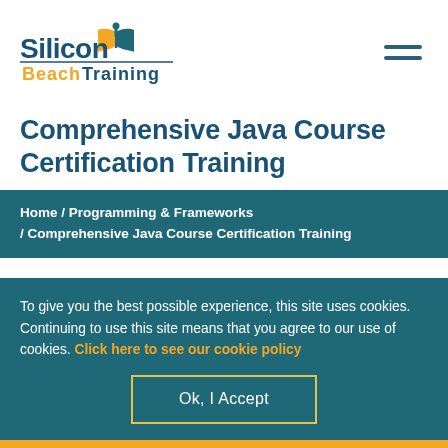[Figure (logo): Silicon Beach Training logo with open book icon and gold/teal coloring]
Comprehensive Java Course Certification Training
Home / Programming & Frameworks / Comprehensive Java Course Certification Training
To give you the best possible experience, this site uses cookies. Continuing to use this site means that you agree to our use of cookies. Click here to see our cookie policy
Ok, I Accept